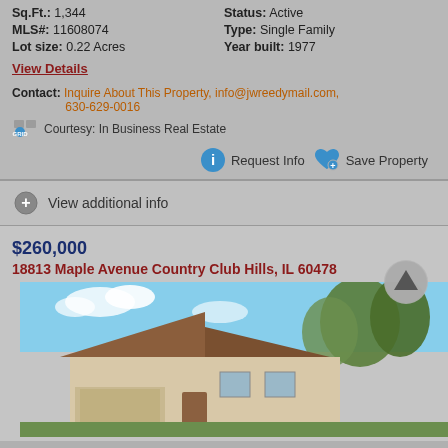Sq.Ft.: 1,344   Status: Active
MLS#: 11608074   Type: Single Family
Lot size: 0.22 Acres   Year built: 1977
View Details
Contact: Inquire About This Property, info@jwreedymail.com, 630-629-0016
Courtesy: In Business Real Estate
Request Info   Save Property
View additional info
$260,000
18813 Maple Avenue Country Club Hills, IL 60478
[Figure (photo): Exterior photo of a single-family home with brown/red roof, beige siding, and trees in the background against a blue sky]